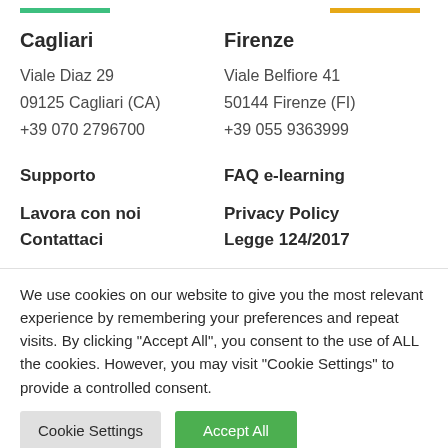Cagliari
Viale Diaz 29
09125  Cagliari (CA)
+39 070 2796700
Firenze
Viale Belfiore 41
50144 Firenze (FI)
+39 055 9363999
Supporto
FAQ e-learning
Lavora con noi
Privacy Policy
Contattaci
Legge 124/2017
We use cookies on our website to give you the most relevant experience by remembering your preferences and repeat visits. By clicking "Accept All", you consent to the use of ALL the cookies. However, you may visit "Cookie Settings" to provide a controlled consent.
Cookie Settings
Accept All